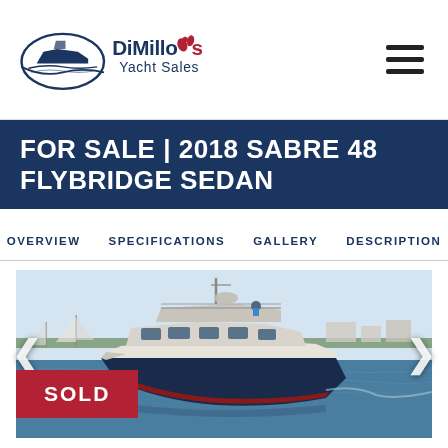DiMillo's Yacht Sales
FOR SALE | 2018 SABRE 48 FLYBRIDGE SEDAN
OVERVIEW  SPECIFICATIONS  GALLERY  DESCRIPTION
[Figure (photo): A dark blue 2018 Sabre 48 Flybridge Sedan motorboat cruising on the water with a marina and sailboats in the background. A person is visible on the flybridge. A red SOLD banner is displayed in the lower left corner of the image. Carousel navigation arrows are visible on the left and right sides.]